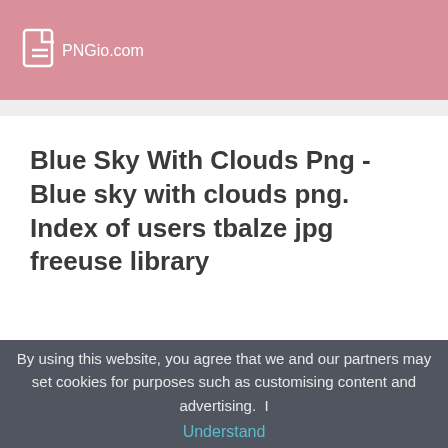PNGio.com
Blue Sky With Clouds Png - Blue sky with clouds png. Index of users tbalze jpg freeuse library
By using this website, you agree that we and our partners may set cookies for purposes such as customising content and advertising. I Understand